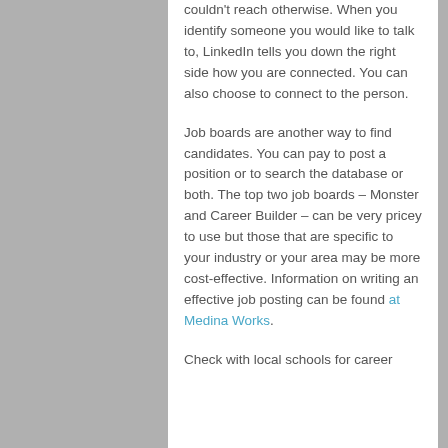couldn't reach otherwise. When you identify someone you would like to talk to, LinkedIn tells you down the right side how you are connected. You can also choose to connect to the person.
Job boards are another way to find candidates. You can pay to post a position or to search the database or both. The top two job boards – Monster and Career Builder – can be very pricey to use but those that are specific to your industry or your area may be more cost-effective. Information on writing an effective job posting can be found at Medina Works.
Check with local schools for career